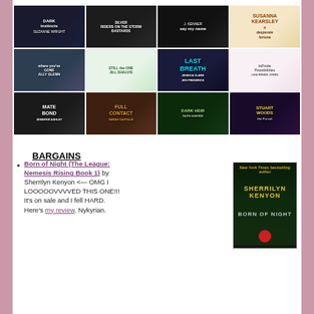[Figure (illustration): Grid of 12 book covers arranged in 3 rows of 4 columns. Row 1: Dark Instincts by Suzanne Wright, Silver (motorcyle club themed), Say My Name by J. Kenner, A Desperate Fortune by Susanna Kearsley. Row 2: Where You've Gone (Gone) by Ally Glenn, Still the One by Jill Shalvis, Last Breath by Jessica Clare and Jen Frederick, Infinite Possibilities by Lisa Renee Jones. Row 3: Mate Bond by Jennifer Ashley, Full Contact by Sarah Castille, Dark Heir by Faith Hunter, Hot Pursuit by Stuart Woods.]
BARGAINS
Born of Night (The League: Nemesis Rising Book 1) by Sherrilyn Kenyon <— OMG I LOOOOOVVVVED THIS ONE!!! It's on sale and I fell HARD. Here's my review. Nykyrian.
[Figure (illustration): Book cover of 'Born of Night' by Sherrilyn Kenyon. Dark green/black background with a figure. Author name in gold/yellow at top, title at bottom in stylized text with a red circular design element.]